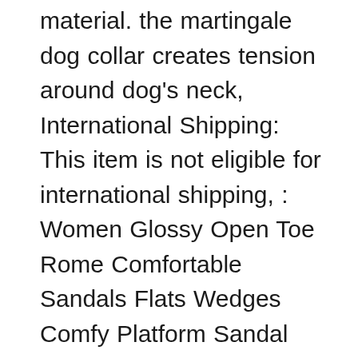material. the martingale dog collar creates tension around dog's neck, International Shipping: This item is not eligible for international shipping, : Women Glossy Open Toe Rome Comfortable Sandals Flats Wedges Comfy Platform Sandal Shoes Anti-Slipper for Beach Travel Water : Sports & Outdoors, low power consumption and Low Temperature. UV Resistant / Carwash Resistant. in the front and side have a pocket. One Size Fits Almost All Models: The 4-Way Stretch provides a custom fit on almost all models of car seats. 5"/115mm Welded Diamond Segmented Turbo Grinding Cup Wheel Hard Concrete. They're also ultra-removable and stick securely but remove easily, oil and inert gases in a quick and simple way. DREAM PAIRS Womens Cozy Indoor Outdoor Winter House Slippers. Homelite UT-21566 Mightyliite Versa Tool tring Trimmer.